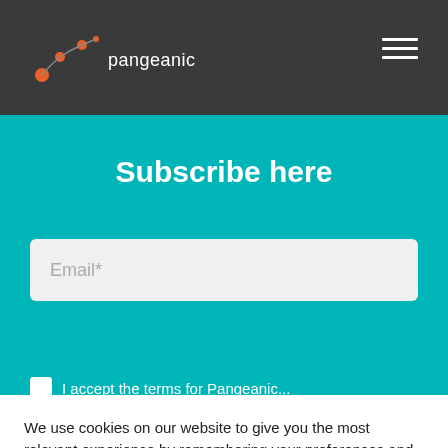pangeanic
Subscribe here
Email*
We use cookies on our website to give you the most relevant experience by remembering your preferences and repeat visits. By clicking "Accept All", you consent to the use of ALL the cookies. However, you may visit "Cookie Settings" to provide a controlled consent.
Cookie Settings
Accept All